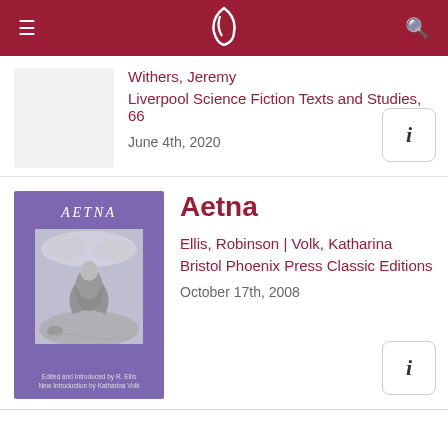Navigation bar with menu, logo, and search icons
Withers, Jeremy
Liverpool Science Fiction Texts and Studies, 66
June 4th, 2020
Aetna
Ellis, Robinson | Volk, Katharina
Bristol Phoenix Press Classic Editions
October 17th, 2008